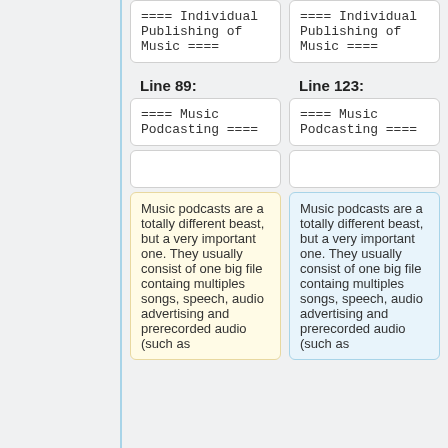==== Individual Publishing of Music ====
==== Individual Publishing of Music ====
Line 89:
Line 123:
==== Music Podcasting ====
==== Music Podcasting ====
Music podcasts are a totally different beast, but a very important one. They usually consist of one big file containg multiples songs, speech, audio advertising and prerecorded audio (such as
Music podcasts are a totally different beast, but a very important one. They usually consist of one big file containg multiples songs, speech, audio advertising and prerecorded audio (such as